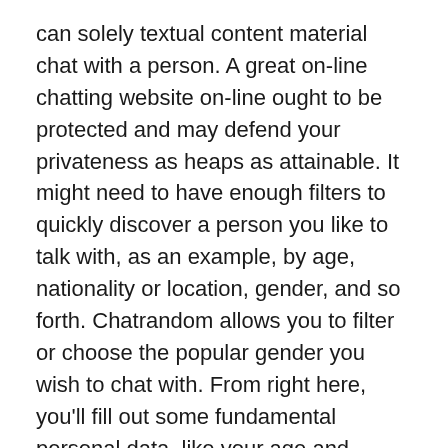can solely textual content material chat with a person. A great on-line chatting website on-line ought to be protected and may defend your privateness as heaps as attainable. It might need to have enough filters to quickly discover a person you like to talk with, as an example, by age, nationality or location, gender, and so forth. Chatrandom allows you to filter or choose the popular gender you wish to chat with. From right here, you'll fill out some fundamental personal data, like your age and location.
Consumer Critiques
However, Chatroulette has related drawbacks to Omegle, but being a far if not to say and